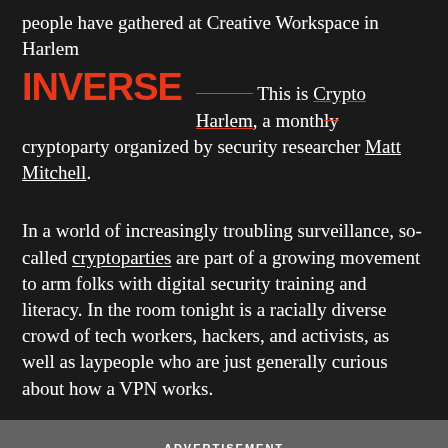people have gathered at Creative Workspace in Harlem
INVERSE
This is Crypto Harlem, a monthly cryptoparty organized by security researcher Matt Mitchell.
In a world of increasingly troubling surveillance, so-called cryptoparties are part of a growing movement to arm folks with digital security training and literacy. In the room tonight is a racially diverse crowd of tech workers, hackers, and activists, as well as laypeople who are just generally curious about how a VPN works.
ADVERTISEMENT